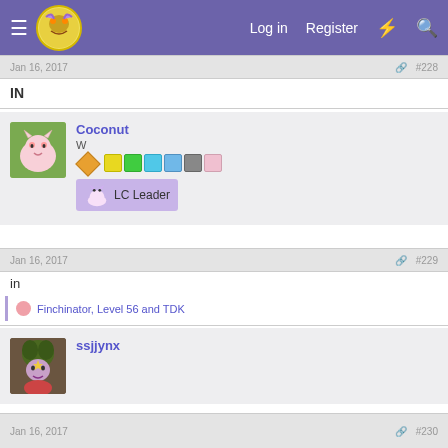Log in | Register
Jan 16, 2017   #228
IN
Coconut
W
LC Leader
Jan 16, 2017   #229
in
Finchinator, Level 56 and TDK
ssjjynx
Jan 16, 2017   #230